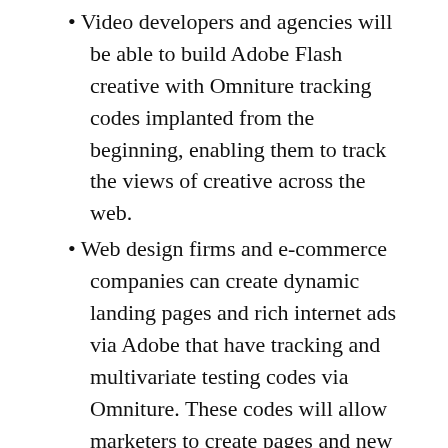Video developers and agencies will be able to build Adobe Flash creative with Omniture tracking codes implanted from the beginning, enabling them to track the views of creative across the web.
Web design firms and e-commerce companies can create dynamic landing pages and rich internet ads via Adobe that have tracking and multivariate testing codes via Omniture. These codes will allow marketers to create pages and new forms of user-customized content.
PDFs could be tracked, providing valuable metrics for the creators of such content.
Blaine Mathieu, chief marketing officer of Lyris — and former executive at Adobe — said the